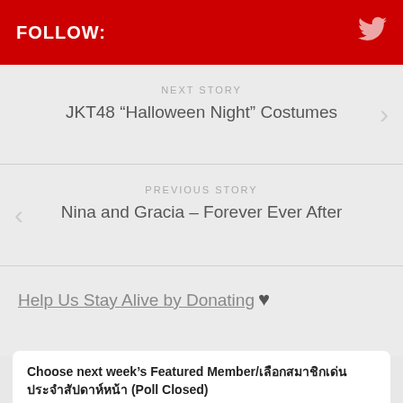FOLLOW:
NEXT STORY
JKT48 “Halloween Night” Costumes
PREVIOUS STORY
Nina and Gracia – Forever Ever After
Help Us Stay Alive by Donating ♥
Choose next week’s Featured Member/เลือกสมาชิกเด่นประจำสัปดาห์หน้า (Poll Closed)